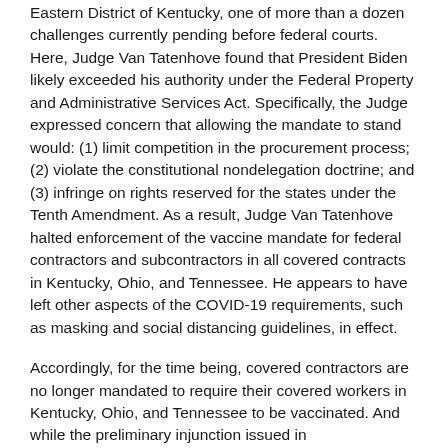Eastern District of Kentucky, one of more than a dozen challenges currently pending before federal courts. Here, Judge Van Tatenhove found that President Biden likely exceeded his authority under the Federal Property and Administrative Services Act. Specifically, the Judge expressed concern that allowing the mandate to stand would: (1) limit competition in the procurement process; (2) violate the constitutional nondelegation doctrine; and (3) infringe on rights reserved for the states under the Tenth Amendment. As a result, Judge Van Tatenhove halted enforcement of the vaccine mandate for federal contractors and subcontractors in all covered contracts in Kentucky, Ohio, and Tennessee. He appears to have left other aspects of the COVID-19 requirements, such as masking and social distancing guidelines, in effect.
Accordingly, for the time being, covered contractors are no longer mandated to require their covered workers in Kentucky, Ohio, and Tennessee to be vaccinated. And while the preliminary injunction issued in Commonwealth of Kentucky, et al. v. Joseph R. Biden, et al. only applies to covered contracts in Kentucky, Ohio, and Tennessee, 20 other states are currently challenging the mandate in several jurisdictions and non-state parties have brought additional claims – meaning all covered contractors should be watching closely to see whether similar injunctions are issued in states where they have covered workers.